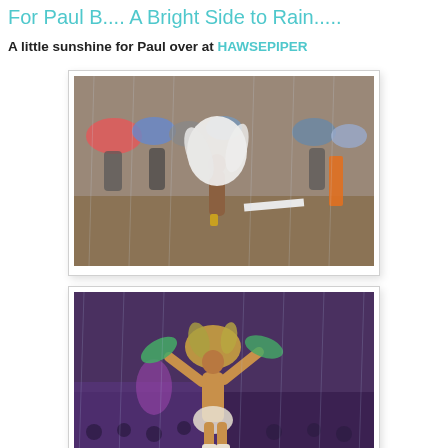For Paul B.... A Bright Side to Rain.....
A little sunshine for Paul over at HAWSEPIPER
[Figure (photo): A carnival dancer wearing a large white feathered costume performing in the rain on a street, with spectators holding umbrellas in the background.]
[Figure (photo): A carnival dancer in a feathered headdress and costume dancing in the rain at a festival, with crowd visible in the background.]